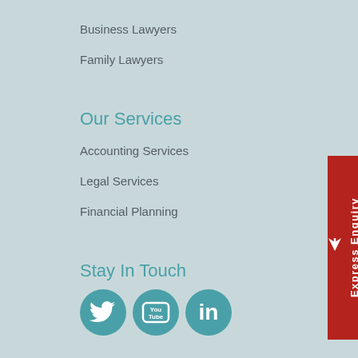Business Lawyers
Family Lawyers
Our Services
Accounting Services
Legal Services
Financial Planning
Stay In Touch
[Figure (illustration): Social media icons: Twitter, YouTube, LinkedIn — circular teal icons]
Newsletter
The Quinn Group provides weekly updates on